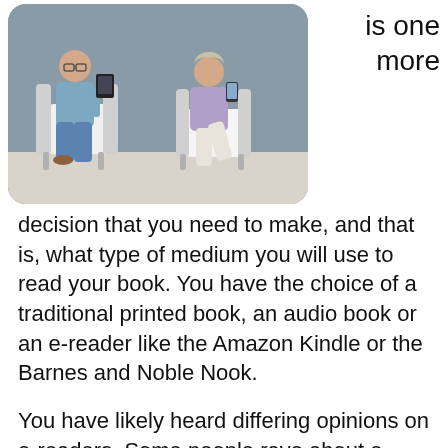[Figure (photo): Two older adults (a man and a woman) sitting in modern white chairs using electronic reading devices, photographed against a gray background.]
is one more
decision that you need to make, and that is, what type of medium you will use to read your book. You have the choice of a traditional printed book, an audio book or an e-reader like the Amazon Kindle or the Barnes and Noble Nook.
You have likely heard differing opinions on e-readers. Some people rave about e-readers because such a small, portable device can hold the equivalent of a huge stack of novels. What